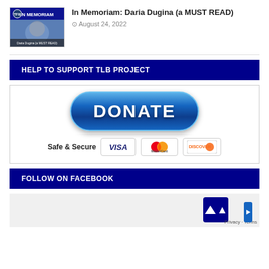[Figure (photo): Thumbnail image for 'In Memoriam: Daria Dugina (a MUST READ)' article showing a person with text overlay 'IN MEMORIAM' and TFB logo]
In Memoriam: Daria Dugina (a MUST READ)
August 24, 2022
HELP TO SUPPORT TLB PROJECT
[Figure (infographic): Donate button (blue pill-shaped) with text DONATE, and Safe & Secure payment icons for VISA, MasterCard, and DISCOVER]
FOLLOW ON FACEBOOK
[Figure (screenshot): Gray box area (Facebook widget placeholder) with a back-to-top arrow button and Privacy/Terms text overlay]